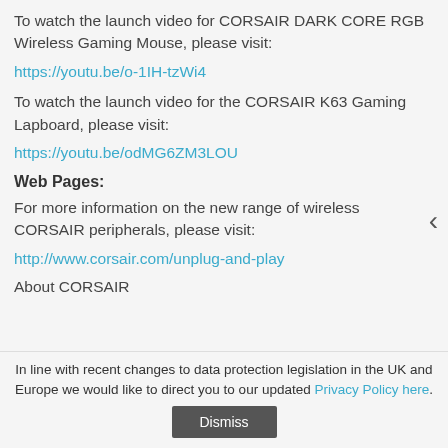To watch the launch video for CORSAIR DARK CORE RGB Wireless Gaming Mouse, please visit:
https://youtu.be/o-1IH-tzWi4
To watch the launch video for the CORSAIR K63 Gaming Lapboard, please visit:
https://youtu.be/odMG6ZM3LOU
Web Pages:
For more information on the new range of wireless CORSAIR peripherals, please visit:
http://www.corsair.com/unplug-and-play
About CORSAIR
In line with recent changes to data protection legislation in the UK and Europe we would like to direct you to our updated Privacy Policy here.